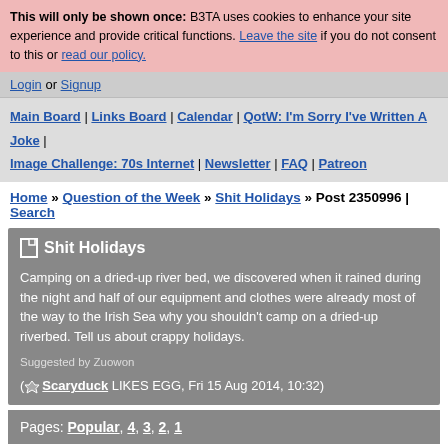This will only be shown once: B3TA uses cookies to enhance your site experience and provide critical functions. Leave the site if you do not consent to this or read our policy.
Login or Signup
Main Board | Links Board | Calendar | QotW: I'm Sorry I've Written A Joke | Image Challenge: 70s Internet | Newsletter | FAQ | Patreon
Home » Question of the Week » Shit Holidays » Post 2350996 | Search
Shit Holidays
Camping on a dried-up river bed, we discovered when it rained during the night and half of our equipment and clothes were already most of the way to the Irish Sea why you shouldn't camp on a dried-up riverbed. Tell us about crappy holidays.
Suggested by Zuowon
( Scaryduck LIKES EGG, Fri 15 Aug 2014, 10:32)
Pages: Popular, 4, 3, 2, 1
« Go Back
Holiday in the sun leads to lots and lots of pain
Ten members of my family went on an all inclusive holiday to Gran Canaria for Christmas week last year. Bloody great. All you could eat and drink all day